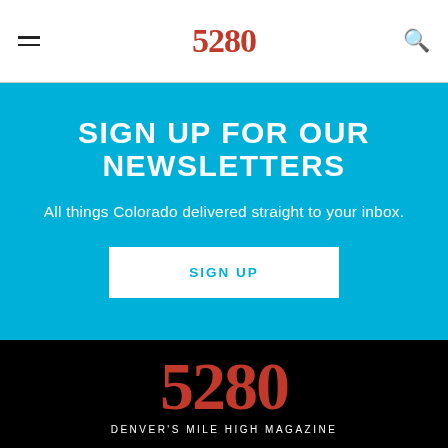5280
SIGN UP FOR OUR NEWSLETTERS
All things Colorado delivered straight to your inbox.
SIGN UP
[Figure (logo): 5280 logo in red/orange serif font on black background with tagline DENVER'S MILE HIGH MAGAZINE]
DENVER'S MILE HIGH MAGAZINE
Magazine